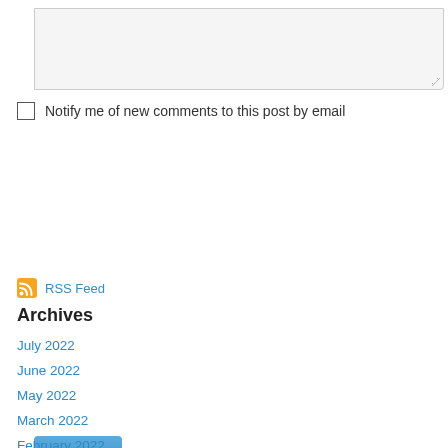[Figure (screenshot): Empty textarea input box with resize handle]
Notify me of new comments to this post by email
[Figure (screenshot): Blue Submit button]
RSS Feed
Archives
July 2022
June 2022
May 2022
March 2022
February 2022
January 2022